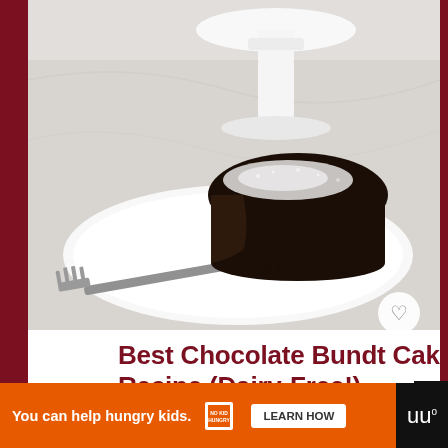[Figure (photo): A slice of chocolate bundt cake dusted with powdered sugar on a white plate with a fork, white cake stand in background on marble surface]
Best Chocolate Bundt Cake Recipe (Dairy-Free!)
[Figure (infographic): Advertisement banner: 'You can help hungry kids.' with No Kid Hungry logo and LEARN HOW button]